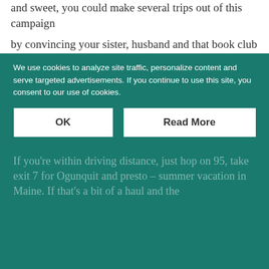and sweet, you could make several trips out of this campaign by convincing your sister, husband and that book club you never made it to that you need several doses of Ogunquit Beach time to survive. Seasonal Affective Disorder and all.
You're welcome.
Step 2: Plan your travel to Ogunquit Maine.
If you're within driving distance, just hop on 95, take exit 7 for Ogunquit and presto – summer vacation in Maine. If that's a bit of a haul and the
We use cookies to analyze site traffic, personalize content and serve targeted advertisements. If you continue to use this site, you consent to our use of cookies.
OK
Read More